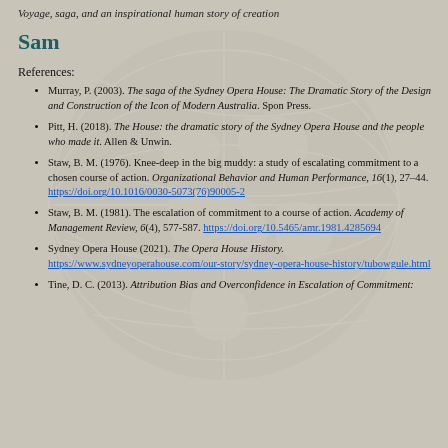Voyage, saga, and an inspirational human story of creation
Sam
References:
Murray, P. (2003). The saga of the Sydney Opera House: The Dramatic Story of the Design and Construction of the Icon of Modern Australia. Spon Press.
Pitt, H. (2018). The House: the dramatic story of the Sydney Opera House and the people who made it. Allen & Unwin.
Staw, B. M. (1976). Knee-deep in the big muddy: a study of escalating commitment to a chosen course of action. Organizational Behavior and Human Performance, 16(1), 27–44. https://doi.org/10.1016/0030-5073(76)90005-2
Staw, B. M. (1981). The escalation of commitment to a course of action. Academy of Management Review, 6(4), 577-587. https://doi.org/10.5465/amr.1981.4285694
Sydney Opera House (2021). The Opera House History. https://www.sydneyoperahouse.com/our-story/sydney-opera-house-history/tubowgule.html
Tine, D. C. (2013). Attribution Bias and Overconfidence in Escalation of Commitment: